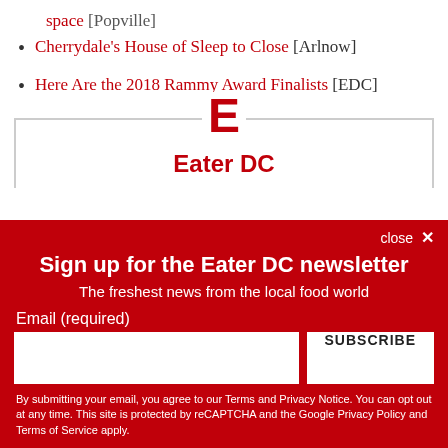space [Popville]
Cherrydale's House of Sleep to Close [Arlnow]
Here Are the 2018 Rammy Award Finalists [EDC]
[Figure (logo): Eater E logo with 'Eater DC' text below, inside a bordered box]
close ✕
Sign up for the Eater DC newsletter
The freshest news from the local food world
Email (required)
SUBSCRIBE
By submitting your email, you agree to our Terms and Privacy Notice. You can opt out at any time. This site is protected by reCAPTCHA and the Google Privacy Policy and Terms of Service apply.